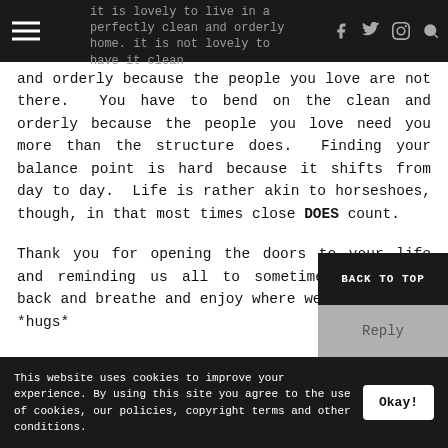it is lovely to live in a perfectly clean and orderly home. it is not lovely to have it clean and orderly because the people you love are not there.
and orderly because the people you love are not there.  You have to bend on the clean and orderly because the people you love need you more than the structure does.  Finding your balance point is hard because it shifts from day to day.  Life is rather akin to horseshoes, though, in that most times close DOES count.

Thank you for opening the doors to your life and reminding us all to sometimes just lean back and breathe and enjoy where we are. *hugs*
BACK TO TOP
Reply
This website uses cookies to improve your experience. By using this site you agree to the use of cookies, our policies, copyright terms and other conditions.